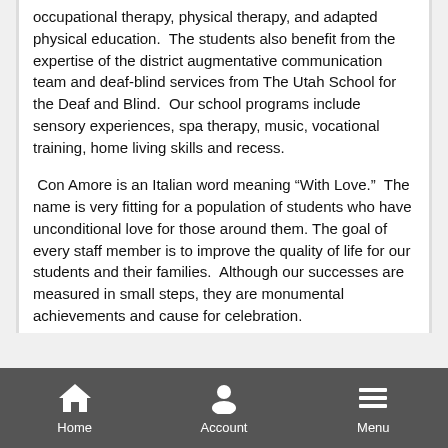occupational therapy, physical therapy, and adapted physical education.  The students also benefit from the expertise of the district augmentative communication team and deaf-blind services from The Utah School for the Deaf and Blind.  Our school programs include sensory experiences, spa therapy, music, vocational training, home living skills and recess.
Con Amore is an Italian word meaning “With Love.”  The name is very fitting for a population of students who have unconditional love for those around them. The goal of every staff member is to improve the quality of life for our students and their families.  Although our successes are measured in small steps, they are monumental achievements and cause for celebration.
Home | Account | Menu